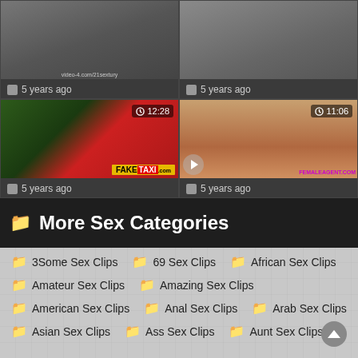[Figure (screenshot): Video thumbnail top-left showing partial scene, with calendar icon and '5 years ago' label]
5 years ago
[Figure (screenshot): Video thumbnail top-right showing partial scene, with calendar icon and '5 years ago' label]
5 years ago
[Figure (screenshot): Video thumbnail bottom-left showing FakeTaxi scene, duration 12:28, '5 years ago']
5 years ago
[Figure (screenshot): Video thumbnail bottom-right showing FemaleAgent scene, duration 11:06, '5 years ago']
5 years ago
More Sex Categories
3Some Sex Clips
69 Sex Clips
African Sex Clips
Amateur Sex Clips
Amazing Sex Clips
American Sex Clips
Anal Sex Clips
Arab Sex Clips
Asian Sex Clips
Ass Sex Clips
Aunt Sex Clips